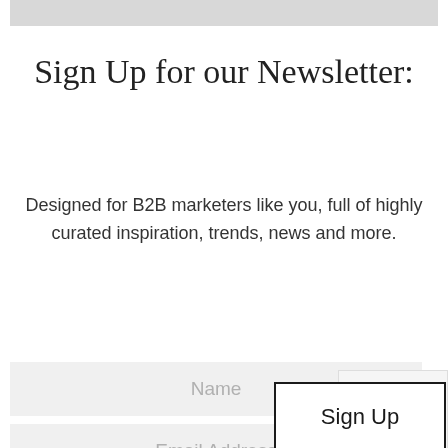[Figure (other): Grey decorative banner bar at the top of the page]
Sign Up for our Newsletter:
Designed for B2B marketers like you, full of highly curated inspiration, trends, news and more.
Name
Email Address
Sign Up
[Figure (other): Google reCAPTCHA badge with logo and Privacy · Terms text]